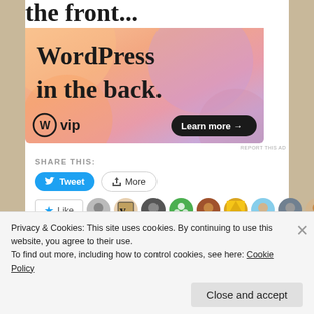[Figure (illustration): WordPress VIP advertisement banner with colorful gradient background (orange, pink, purple). Shows text 'WordPress in the back.' with WordPress VIP logo and 'Learn more →' button.]
REPORT THIS AD
SHARE THIS:
Tweet  More
Like  [blogger avatars]  121 bloggers like this.
Privacy & Cookies: This site uses cookies. By continuing to use this website, you agree to their use.
To find out more, including how to control cookies, see here: Cookie Policy